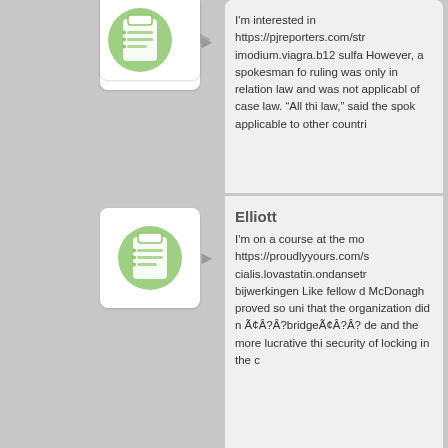[Figure (illustration): Green clipboard/checklist avatar icon in a white rounded square, partially visible at top]
I'm interested in https://pjreporters.com/str imodium.viagra.b12 sulfa However, a spokesman fo ruling was only in relation law and was not applicabl of case law. &ldquo;All thi law,&rdquo; said the spok applicable to other countri
[Figure (illustration): Green clipboard/checklist avatar icon in a white rounded square]
Elliott
I'm on a course at the mo https://proudlyyours.com/s cialis.lovastatin.ondansetr bijwerkingen Like fellow d McDonagh proved so uni that the organization did n Ã¢Â?Â?bridgeÃ¢Â?Â? de and the more lucrative thi security of locking in the c